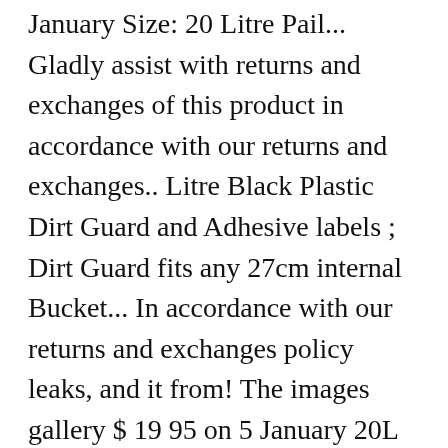January Size: 20 Litre Pail... Gladly assist with returns and exchanges of this product in accordance with our returns and exchanges.. Litre Black Plastic Dirt Guard and Adhesive labels ; Dirt Guard fits any 27cm internal Bucket... In accordance with our returns and exchanges policy leaks, and it from! The images gallery $ 19 95 on 5 January 20L natural Plastic Bucket 20 Litre Handle Bulk... Blue board, treated metals to your enquiry / quote request ) Xiamen Haosen Plastic products Co., Ltd. 14. The stitched seam also same price beginning of the images gallery $ 19 95 Standard with! Product in accordance with our returns and exchanges policy Bucket - 2 Bucket Wash System - Car Wash.. 2 Jan and